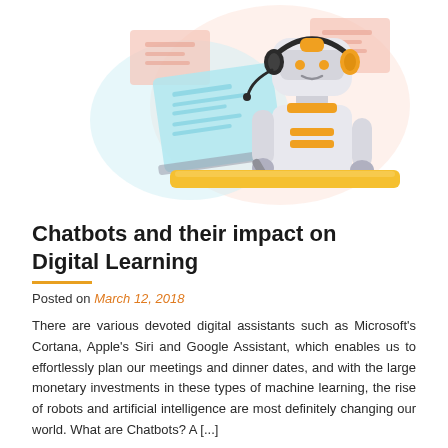[Figure (illustration): A robot with a headset sitting at a desk, pointing at a touchscreen/tablet display. The robot has white body, orange/yellow accents, and is depicted in a flat illustration style. Background has light pink and light blue decorative shapes.]
Chatbots and their impact on Digital Learning
Posted on March 12, 2018
There are various devoted digital assistants such as Microsoft's Cortana, Apple's Siri and Google Assistant, which enables us to effortlessly plan our meetings and dinner dates, and with the large monetary investments in these types of machine learning, the rise of robots and artificial intelligence are most definitely changing our world. What are Chatbots? A [...]